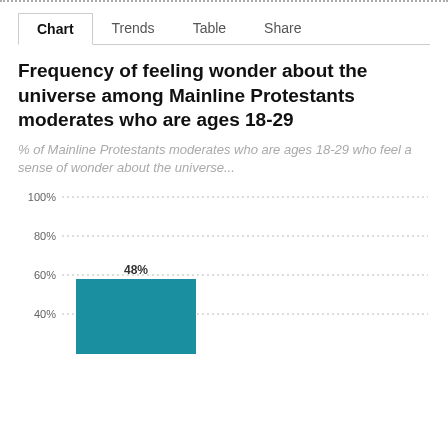Chart | Trends | Table | Share
Frequency of feeling wonder about the universe among Mainline Protestants moderates who are ages 18-29
% of Mainline Protestants moderates who are ages 18-29 who feel a sense of wonder about the universe...
[Figure (bar-chart): Frequency of feeling wonder about the universe among Mainline Protestants moderates who are ages 18-29]